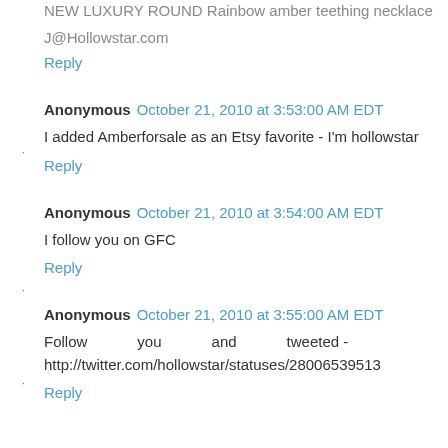NEW LUXURY ROUND Rainbow amber teething necklace
J@Hollowstar.com
Reply
Anonymous  October 21, 2010 at 3:53:00 AM EDT
I added Amberforsale as an Etsy favorite - I'm hollowstar
Reply
Anonymous  October 21, 2010 at 3:54:00 AM EDT
I follow you on GFC
Reply
Anonymous  October 21, 2010 at 3:55:00 AM EDT
Follow you and tweeted - http://twitter.com/hollowstar/statuses/28006539513
Reply